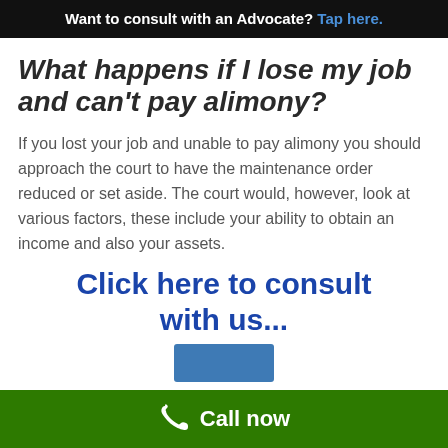Want to consult with an Advocate? Tap here.
What happens if I lose my job and can't pay alimony?
If you lost your job and unable to pay alimony you should approach the court to have the maintenance order reduced or set aside. The court would, however, look at various factors, these include your ability to obtain an income and also your assets.
Click here to consult with us...
[Figure (screenshot): Partial image preview of a button or profile element]
Call now